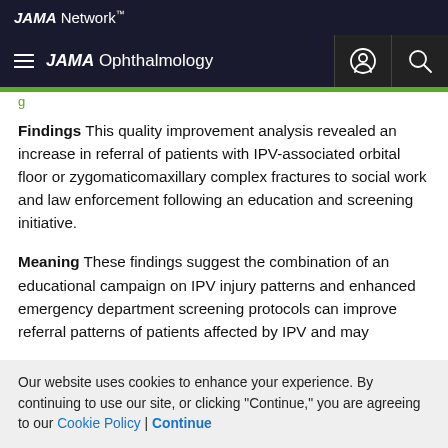JAMA Network™
JAMA Ophthalmology
Findings  This quality improvement analysis revealed an increase in referral of patients with IPV-associated orbital floor or zygomaticomaxillary complex fractures to social work and law enforcement following an education and screening initiative.
Meaning  These findings suggest the combination of an educational campaign on IPV injury patterns and enhanced emergency department screening protocols can improve referral patterns of patients affected by IPV and may
Our website uses cookies to enhance your experience. By continuing to use our site, or clicking "Continue," you are agreeing to our Cookie Policy | Continue